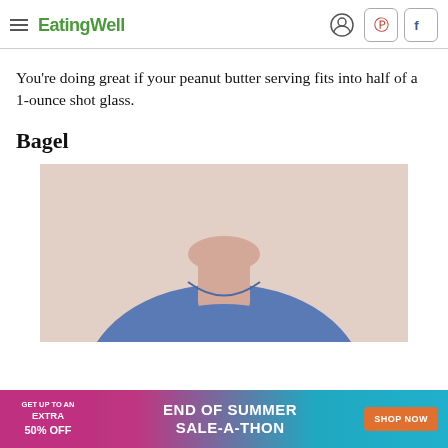EatingWell
You're doing great if your peanut butter serving fits into half of a 1-ounce shot glass.
Bagel
[Figure (photo): A person in a blue t-shirt, photo cropped at neck/chest level, against a light background.]
[Figure (infographic): Advertisement banner: GET UP TO AN EXTRA 50% OFF | END OF SUMMER SALE-A-THON | SHOP NOW]